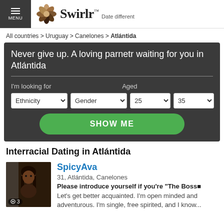MENU | Swirlr™ Date different
All countries > Uruguay > Canelones > Atlántida
Never give up. A loving parnetr waiting for you in Atlántida
I'm looking for | Aged | Ethnicity | Gender | 25 | 35 | SHOW ME
Interracial Dating in Atlántida
SpicyAva
31, Atlántida, Canelones
Please introduce yourself if you're "The Boss�
Let's get better acquainted. I'm open minded and adventurous. I'm single, free spirited, and I know...